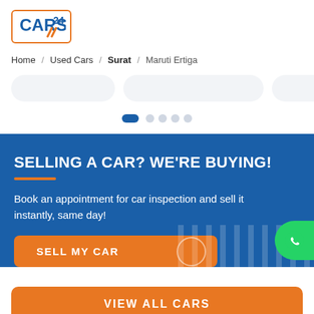[Figure (logo): CARS24 logo in orange border box with orange slash marks]
Home / Used Cars / Surat / Maruti Ertiga
[Figure (other): Carousel pagination dots, first dot active (blue pill), four grey dots]
SELLING A CAR? WE'RE BUYING!
Book an appointment for car inspection and sell it instantly, same day!
SELL MY CAR
VIEW ALL CARS